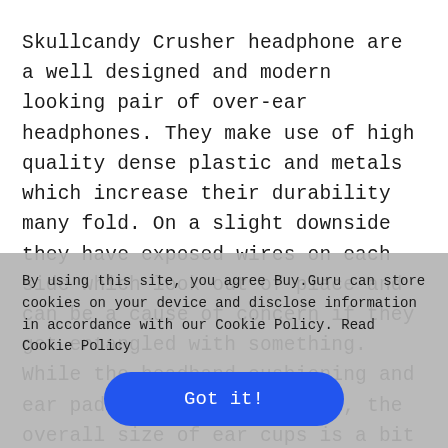Skullcandy Crusher headphone are a well designed and modern looking pair of over-ear headphones. They make use of high quality dense plastic and metals which increase their durability many fold. On a slight downside they have exposed wires on each side which look out of place and can be a cause of concern if they get entangled with something. While the headband cushioning and ear pads are soft and plush, the overall size of ear cups is a bit small and the clamping force a bit high. Battery life is
By using this site, you agree Buy.Guru can store cookies on your device and disclose information in accordance with our Cookie Policy. Read Cookie Policy
Got it!